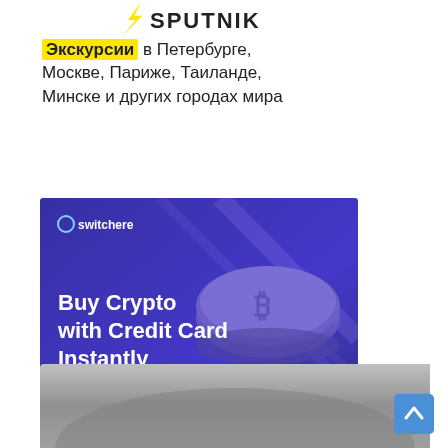[Figure (logo): Sputnik logo with lightning bolt icon and SPUTNIK wordmark]
Экскурсии в Петербурге, Москве, Париже, Таиланде, Минске и других городах мира
[Figure (photo): Switchere advertisement banner with blue/purple background showing a hand holding a credit card near a Bitcoin coin. Text: Buy Crypto with Credit Card Instantly. Green button: Buy Now. Switchere logo top left.]
[Figure (logo): Nomillhouse logo - grey rectangle icon with text NOMILLHOUSE]
[Figure (photo): Partial photo at bottom of page showing grey/blurred curved surface]